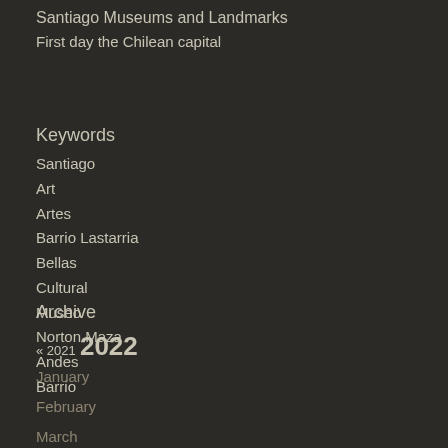Santiago Museums and Landmarks
First day the Chilean capital
Keywords
Santiago
Art
Artes
Barrio Lastarria
Bellas
Cultural
Museo
Norton Maza
Andes
Barrio
Archive
« 2021  2022
January
February
March
April